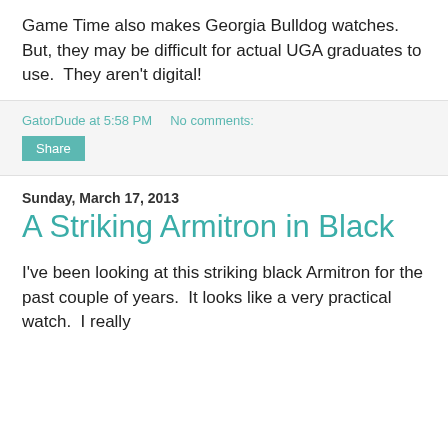Game Time also makes Georgia Bulldog watches.  But, they may be difficult for actual UGA graduates to use.  They aren't digital!
GatorDude at 5:58 PM    No comments:
Share
Sunday, March 17, 2013
A Striking Armitron in Black
I've been looking at this striking black Armitron for the past couple of years.  It looks like a very practical watch.  I really